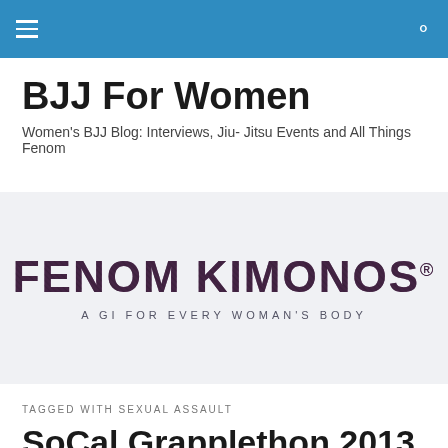BJJ For Women — navigation bar
BJJ For Women
Women's BJJ Blog: Interviews, Jiu- Jitsu Events and All Things Fenom
[Figure (logo): Fenom Kimonos logo — large bold text reading 'FENOM KIMONOS' with tagline 'A GI FOR EVERY WOMAN'S BODY' on a light grey-blue background]
TAGGED WITH SEXUAL ASSAULT
SoCal Grapplethon 2013